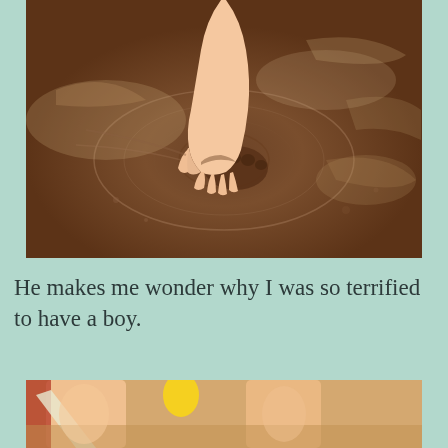[Figure (photo): A child's hand pressing into wet mud/sand, creating circular ripples and impressions in the muddy surface]
He makes me wonder why I was so terrified to have a boy.
[Figure (photo): Partial view of a child's legs near what appears to be a yellow toy or object, with a red element in the background]